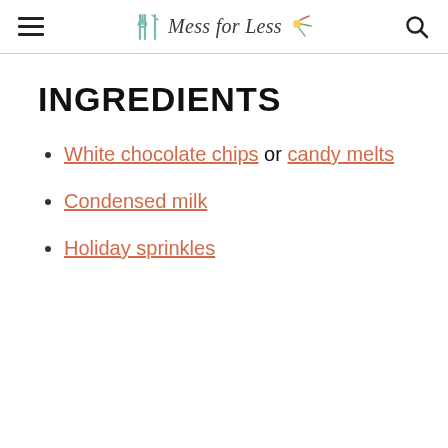Mess for Less
INGREDIENTS
White chocolate chips or candy melts
Condensed milk
Holiday sprinkles